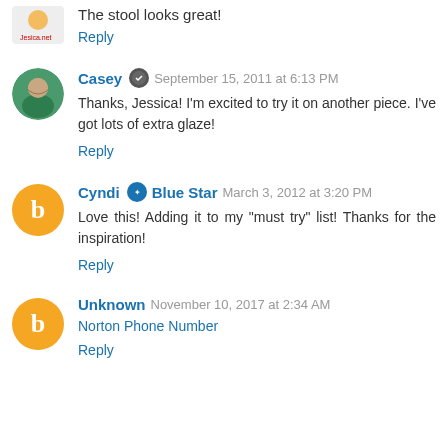The stool looks great!
Reply
Casey  September 15, 2011 at 6:13 PM
Thanks, Jessica! I'm excited to try it on another piece. I've got lots of extra glaze!
Reply
Cyndi  Blue Star  March 3, 2012 at 3:20 PM
Love this! Adding it to my "must try" list! Thanks for the inspiration!
Reply
Unknown  November 10, 2017 at 2:34 AM
Norton Phone Number
Reply